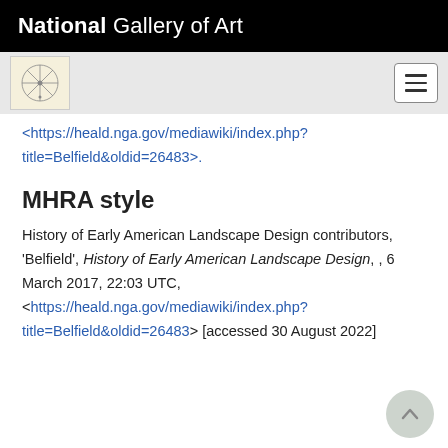National Gallery of Art
<https://heald.nga.gov/mediawiki/index.php?title=Belfield&oldid=26483>.
MHRA style
History of Early American Landscape Design contributors, 'Belfield', History of Early American Landscape Design, , 6 March 2017, 22:03 UTC, <https://heald.nga.gov/mediawiki/index.php?title=Belfield&oldid=26483> [accessed 30 August 2022]